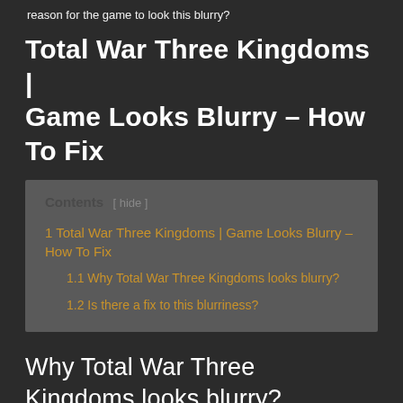reason for the game to look this blurry?
Total War Three Kingdoms | Game Looks Blurry – How To Fix
1 Total War Three Kingdoms | Game Looks Blurry – How To Fix
1.1 Why Total War Three Kingdoms looks blurry?
1.2 Is there a fix to this blurriness?
Why Total War Three Kingdoms looks blurry?